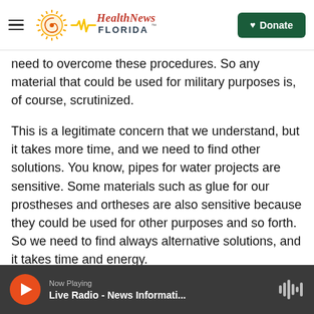Health News Florida | Donate
need to overcome these procedures. So any material that could be used for military purposes is, of course, scrutinized.
This is a legitimate concern that we understand, but it takes more time, and we need to find other solutions. You know, pipes for water projects are sensitive. Some materials such as glue for our prostheses and ortheses are also sensitive because they could be used for other purposes and so forth. So we need to find always alternative solutions, and it takes time and energy.
SHAPIRO: That's Robert Mardini, director-general of
Now Playing | Live Radio - News Informati...